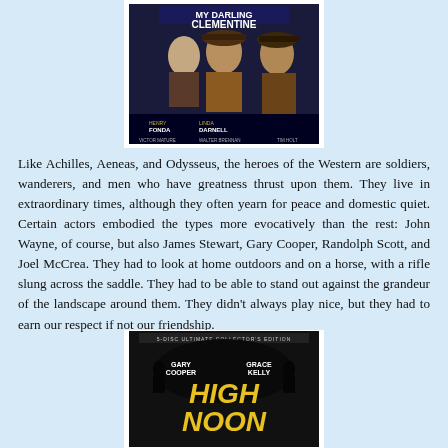[Figure (photo): Movie poster for 'My Darling Clementine' featuring Henry Fonda, Linda Darnell, Victor Mature, Walter Brennan, and Tim Holt. Shows actors in Western attire.]
Like Achilles, Aeneas, and Odysseus, the heroes of the Western are soldiers, wanderers, and men who have greatness thrust upon them. They live in extraordinary times, although they often yearn for peace and domestic quiet. Certain actors embodied the types more evocatively than the rest: John Wayne, of course, but also James Stewart, Gary Cooper, Randolph Scott, and Joel McCrea. They had to look at home outdoors and on a horse, with a rifle slung across the saddle. They had to be able to stand out against the grandeur of the landscape around them. They didn't always play nice, but they had to earn our respect if not our friendship.
[Figure (photo): Movie poster for 'High Noon' featuring Gary Cooper and Grace Kelly. Shows title in large yellow/gold letters with silhouetted figures. Labeled as a 5-disc Ultimate Collector's Edition.]